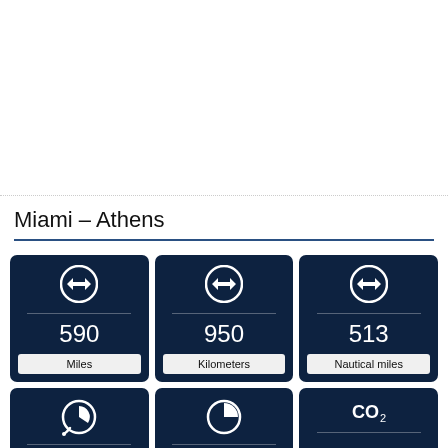Miami – Athens
| Metric | Value | Unit |
| --- | --- | --- |
| distance | 590 | Miles |
| distance | 950 | Kilometers |
| distance | 513 | Nautical miles |